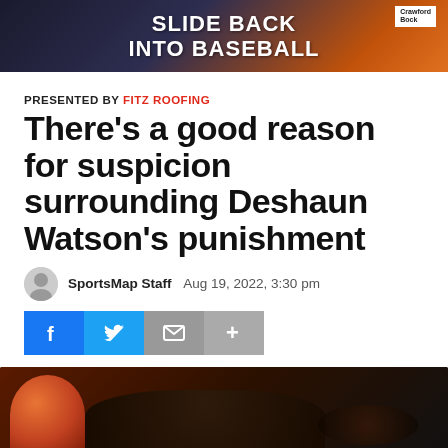[Figure (photo): Advertisement banner: SLIDE BACK INTO BASEBALL with Crawford Bock branding, dark background with orange tones]
PRESENTED BY FITZ ROOFING
There’s a good reason for suspicion surrounding Deshaun Watson’s punishment
SportsMap Staff  Aug 19, 2022, 3:30 pm
[Figure (other): Social share buttons: Facebook, Twitter, Email, More]
[Figure (photo): Photo of Deshaun Watson wearing Cleveland Browns helmet and cap]